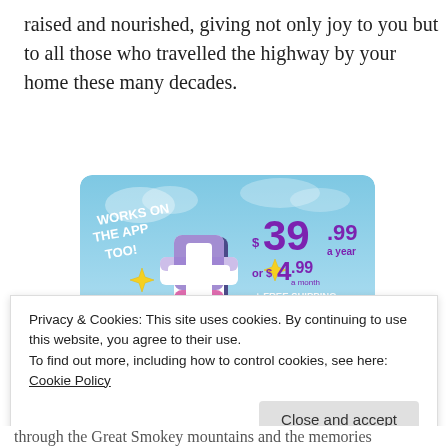raised and nourished, giving not only joy to you but to all those who travelled the highway by your home these many decades.
[Figure (infographic): Tumblr subscription advertisement: 'Works on the App Too!' with Tumblr 't' logo. Price shown: $39.99 a year or $4.99 a month + FREE SHIPPING. Blue sky background with sparkle stars.]
Privacy & Cookies: This site uses cookies. By continuing to use this website, you agree to their use.
To find out more, including how to control cookies, see here: Cookie Policy
through the Great Smokey mountains and the memories